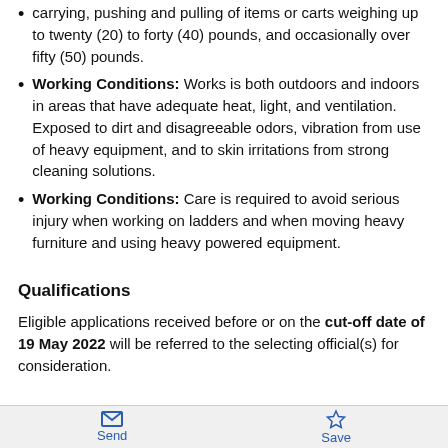carrying, pushing and pulling of items or carts weighing up to twenty (20) to forty (40) pounds, and occasionally over fifty (50) pounds.
Working Conditions: Works is both outdoors and indoors in areas that have adequate heat, light, and ventilation. Exposed to dirt and disagreeable odors, vibration from use of heavy equipment, and to skin irritations from strong cleaning solutions.
Working Conditions: Care is required to avoid serious injury when working on ladders and when moving heavy furniture and using heavy powered equipment.
Qualifications
Eligible applications received before or on the cut-off date of 19 May 2022 will be referred to the selecting official(s) for consideration.
Send  Save